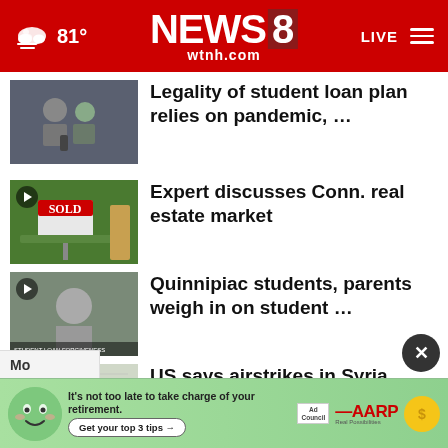NEWS 8 wtnh.com — 81° — LIVE
Legality of student loan plan relies on pandemic, …
Expert discusses Conn. real estate market
Quinnipiac students, parents weigh in on student …
US says airstrikes in Syria intended to send message …
News 8 hosts roundtable with parents, staff, security …
[Figure (screenshot): AARP advertisement banner: green background with cartoon face character, text 'It's not too late to take charge of your retirement. Get your top 3 tips ->', Ad Council and AARP logos with sun icon and dollar sign]